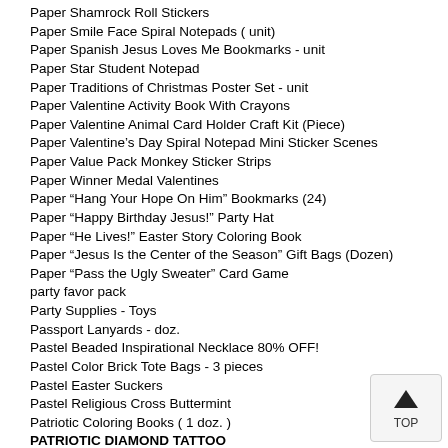Paper Shamrock Roll Stickers
Paper Smile Face Spiral Notepads ( unit)
Paper Spanish Jesus Loves Me Bookmarks - unit
Paper Star Student Notepad
Paper Traditions of Christmas Poster Set - unit
Paper Valentine Activity Book With Crayons
Paper Valentine Animal Card Holder Craft Kit (Piece)
Paper Valentine’s Day Spiral Notepad Mini Sticker Scenes
Paper Value Pack Monkey Sticker Strips
Paper Winner Medal Valentines
Paper “Hang Your Hope On Him” Bookmarks (24)
Paper “Happy Birthday Jesus!” Party Hat
Paper “He Lives!” Easter Story Coloring Book
Paper “Jesus Is the Center of the Season” Gift Bags (Dozen)
Paper “Pass the Ugly Sweater” Card Game
party favor pack
Party Supplies - Toys
Passport Lanyards - doz.
Pastel Beaded Inspirational Necklace 80% OFF!
Pastel Color Brick Tote Bags - 3 pieces
Pastel Easter Suckers
Pastel Religious Cross Buttermint
Patriotic Coloring Books ( 1 doz. )
PATRIOTIC DIAMOND TATTOO
Patriotic Emoji Roll Stickers - roll
Patriotic Fun Foot Bible Tote...